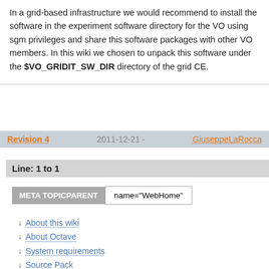In a grid-based infrastructure we would recommend to install the software in the experiment software directory for the VO using sgm privileges and share this software packages with other VO members. In this wiki we chosen to unpack this software under the $VO_GRIDIT_SW_DIR directory of the grid CE.
Revision 4  2011-12-21 - GiuseppeLaRocca
Line: 1 to 1
| META TOPICPARENT | name="WebHome" |
| --- | --- |
About this wiki
About Octave
System requirements
Source Pack
Unpacking the source and installation
Building Octave-3.2.4
Installing add-ons